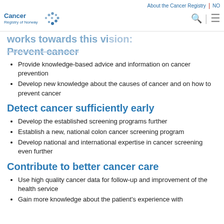About the Cancer Registry | NO — Cancer Registry of Norway logo
works towards this vision:
Prevent cancer
Provide knowledge-based advice and information on cancer prevention
Develop new knowledge about the causes of cancer and on how to prevent cancer
Detect cancer sufficiently early
Develop the established screening programs further
Establish a new, national colon cancer screening program
Develop national and international expertise in cancer screening even further
Contribute to better cancer care
Use high quality cancer data for follow-up and improvement of the health service
Gain more knowledge about the patient's experience with